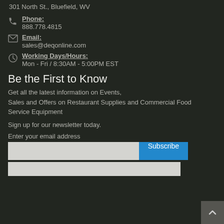301 North St., Bluefield, WV
Phone:
888.778.4815
Email:
sales@deqonline.com
Working Days/Hours:
Mon - Fri / 8:30AM - 5:00PM EST
Be the First to Know
Get all the latest information on Events, Sales and Offers on Restaurant Supplies and Commercial Food Service Equipment
Sign up for our newsletter today.
Enter your email address